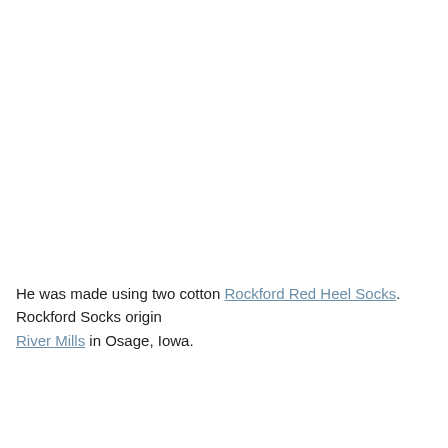He was made using two cotton Rockford Red Heel Socks.  Rockford Socks originally came from Fox River Mills in Osage, Iowa.